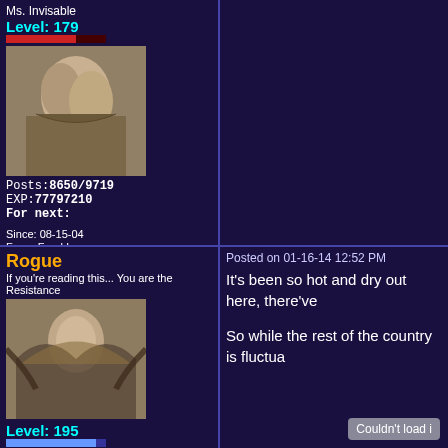Ms. Invisable
Level: 179
[Figure (photo): Avatar image of Ms. Invisable, sepia/monochrome illustration of figures]
Posts:8650/9719
EXP:77797210
For next:
Since: 08-15-04
From: Ferelden
Since last post: 72 days
Last activity: 36 days
no user specified
Rogue
If you're reading this... You are the Resistance
[Figure (photo): Avatar image of Rogue, sepia photo of person with wings]
Level: 195
[Figure (illustration): Small sprite/icon of a cartoon character with a gun]
Posts:10032/
EXP:
For next:22048
Since: 08-17-04
Since last post: 92 days
Last activity: 72 days
Posted on 01-16-14 12:52 PM
It's been so hot and dry out here, there've
So while the rest of the country is fluctua